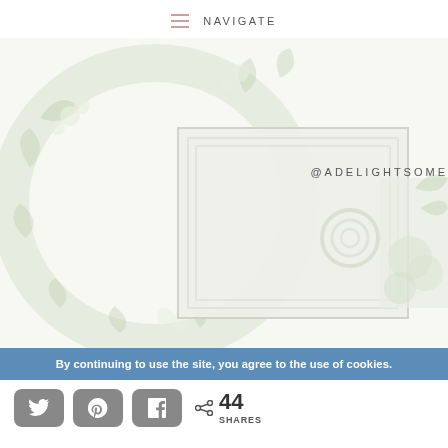NAVIGATE
[Figure (photo): Decorative botanical/floral flat-lay image with a wreath made of greenery and white flowers, overlapping with a framed photograph of wedding/event decor items, and a partial photo of a floral cake and roses. The images are light and airy with a nearly white background. Partially cropped Instagram handle '@ADELIGHTSOME' visible on the right side.]
@ADELIGHTSOME
By continuing to use the site, you agree to the use of cookies.
44 SHARES